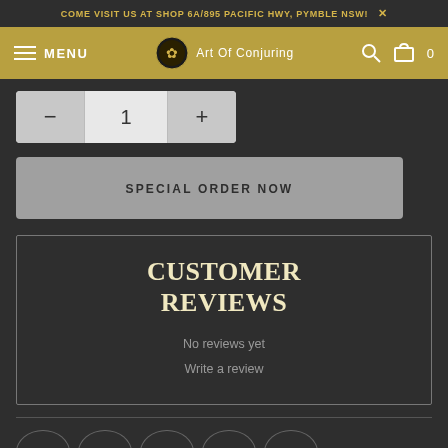COME VISIT US AT SHOP 6A/895 PACIFIC HWY, PYMBLE NSW! ×
MENU  Art Of Conjuring  0
[Figure (screenshot): Quantity selector with minus, 1, plus buttons]
SPECIAL ORDER NOW
CUSTOMER REVIEWS
No reviews yet
Write a review